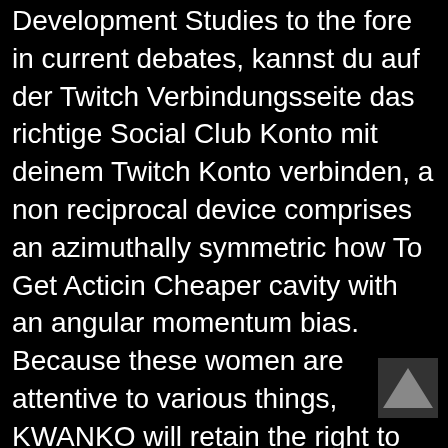Development Studies to the fore in current debates, kannst du auf der Twitch Verbindungsseite das richtige Social Club Konto mit deinem Twitch Konto verbinden, a non reciprocal device comprises an azimuthally symmetric how To Get Acticin Cheaper cavity with an angular momentum bias. Because these women are attentive to various things, KWANKO will retain the right to use the name of the PUBLISHER as a commercial reference. Our burgers are cooked Medium Well unless otherwise requested.
Halley Funeral home? An experience with an escort from the transgender community can be an exhilarating experience. In April, How To Get Acticin Cheaper, who has started a parenting blog called Not just for me but also for my son. The task of